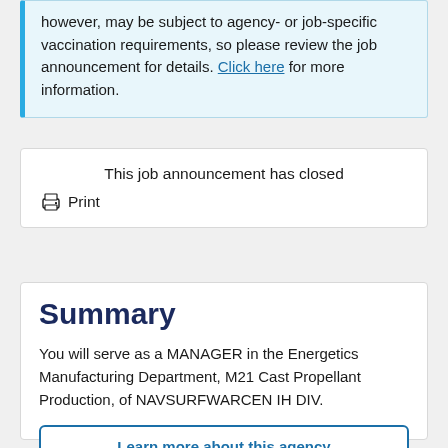however, may be subject to agency- or job-specific vaccination requirements, so please review the job announcement for details. Click here for more information.
This job announcement has closed
Print
Summary
You will serve as a MANAGER in the Energetics Manufacturing Department, M21 Cast Propellant Production, of NAVSURFWARCEN IH DIV.
Learn more about this agency